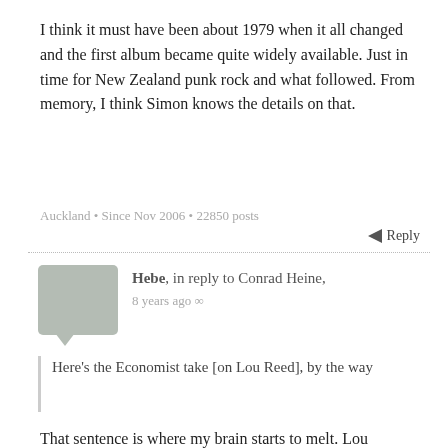I think it must have been about 1979 when it all changed and the first album became quite widely available. Just in time for New Zealand punk rock and what followed. From memory, I think Simon knows the details on that.
Auckland • Since Nov 2006 • 22850 posts
Reply
Hebe, in reply to Conrad Heine, 8 years ago ∞
Here's the Economist take [on Lou Reed], by the way
That sentence is where my brain starts to melt. Lou Reed in The Economist obits.
Christchurch • Since May 2011 • 2899 posts
Reply
philipmatthews, 8 years ago ∞